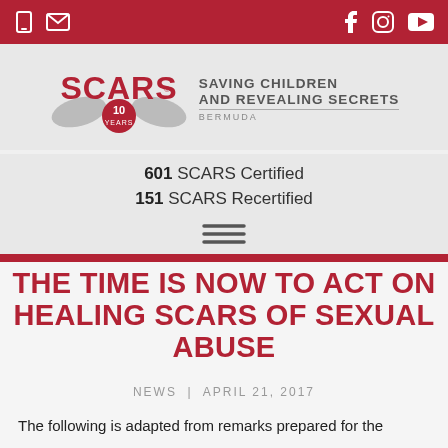SCARS – Saving Children And Revealing Secrets Bermuda – website header with navigation icons
[Figure (logo): SCARS logo with hands and '10 YEARS' badge, alongside tagline 'SAVING CHILDREN AND REVEALING SECRETS BERMUDA']
601 SCARS Certified
151 SCARS Recertified
THE TIME IS NOW TO ACT ON HEALING SCARS OF SEXUAL ABUSE
NEWS | APRIL 21, 2017
The following is adapted from remarks prepared for the